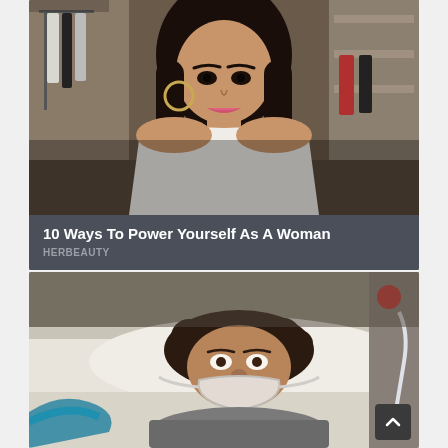[Figure (photo): Woman with long dark hair wearing a white off-shoulder top, standing in what appears to be a clothing store or dressing room with clothes hanging in the background]
10 Ways To Power Yourself As A Woman
HERBEAUTY
[Figure (photo): Person lying in a hospital bed with a breathing/oxygen mask on their face, medical tubing visible]